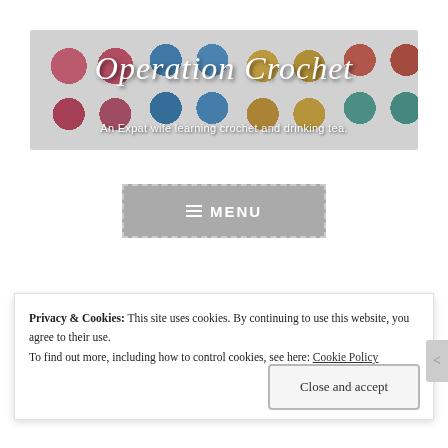[Figure (photo): Operation Crochet blog banner showing colorful crochet yarn flowers in red, blue, yellow, teal colors with cursive title text 'Operation Crochet' and subtitle 'An Expat wife learning crochet and drinking tea.']
≡ MENU
Privacy & Cookies: This site uses cookies. By continuing to use this website, you agree to their use.
To find out more, including how to control cookies, see here: Cookie Policy
Close and accept